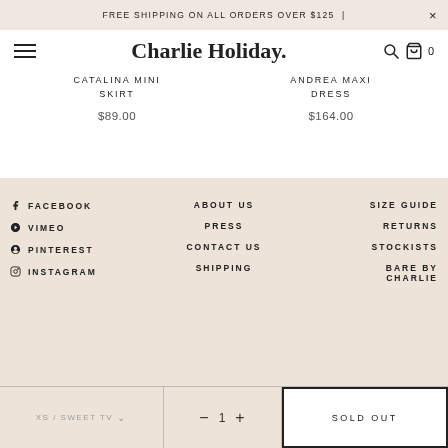FREE SHIPPING ON ALL ORDERS OVER $125 | ×
Charlie Holiday.
CATALINA MINI SKIRT
$89.00
ANDREA MAXI DRESS
$164.00
FACEBOOK
VIMEO
PINTEREST
INSTAGRAM
ABOUT US
PRESS
CONTACT US
SHIPPING
SIZE GUIDE
RETURNS
STOCKISTS
BARE BY CHARLIE
XS / SWEET TV   — 1 +   SOLD OUT